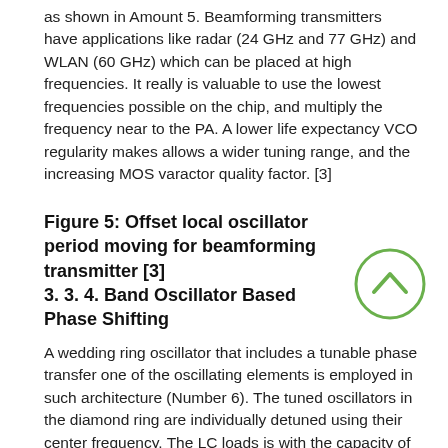as shown in Amount 5. Beamforming transmitters have applications like radar (24 GHz and 77 GHz) and WLAN (60 GHz) which can be placed at high frequencies. It really is valuable to use the lowest frequencies possible on the chip, and multiply the frequency near to the PA. A lower life expectancy VCO regularity makes allows a wider tuning range, and the increasing MOS varactor quality factor. [3]
Figure 5: Offset local oscillator period moving for beamforming transmitter [3] 3. 3. 4. Band Oscillator Based Phase Shifting
A wedding ring oscillator that includes a tunable phase transfer one of the oscillating elements is employed in such architecture (Number 6). The tuned oscillators in the diamond ring are individually detuned using their center frequency. The LC loads is with the capacity of sustaining